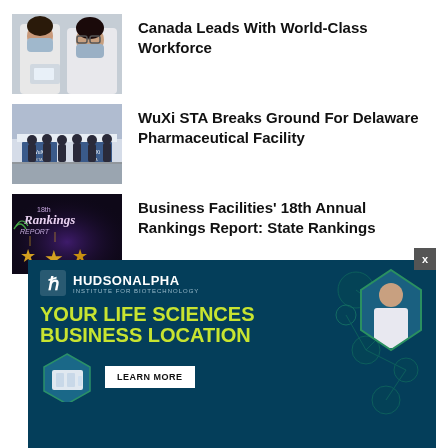[Figure (photo): Two researchers wearing white lab coats and blue face masks]
Canada Leads With World-Class Workforce
[Figure (photo): Group of people at a groundbreaking ceremony with WuXi STA banners]
WuXi STA Breaks Ground For Delaware Pharmaceutical Facility
[Figure (photo): Business Facilities 18th Annual Rankings Report dark promotional image with gold stars]
Business Facilities' 18th Annual Rankings Report: State Rankings
[Figure (advertisement): HudsonAlpha Institute for Biotechnology ad: YOUR LIFE SCIENCES BUSINESS LOCATION — LEARN MORE]